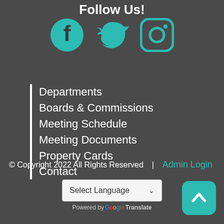Follow Us!
[Figure (illustration): Three social media icons: Facebook, Twitter (bird), and Instagram, rendered in teal/dark teal color]
Departments
Boards & Commissions
Meeting Schedule
Meeting Documents
Property Cards
Contact
© Copyright 2022 All Rights Reserved   |   Admin Login
Select Language (dropdown) — Powered by Google Translate
[Figure (illustration): Teal rounded-square back-to-top button with white chevron/caret pointing up]